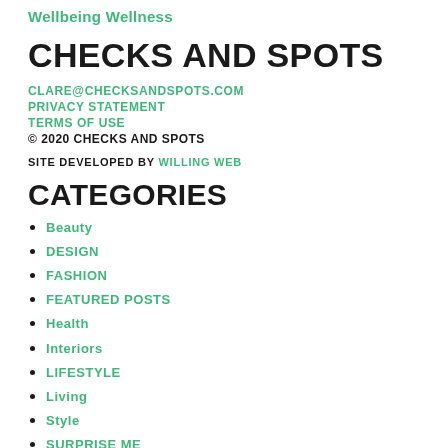Wellbeing Wellness
CHECKS AND SPOTS
CLARE@CHECKSANDSPOTS.COM
PRIVACY STATEMENT
TERMS OF USE
© 2020 CHECKS AND SPOTS
SITE DEVELOPED BY WILLING WEB
CATEGORIES
Beauty
DESIGN
FASHION
FEATURED POSTS
Health
Interiors
LIFESTYLE
Living
Style
SURPRISE ME